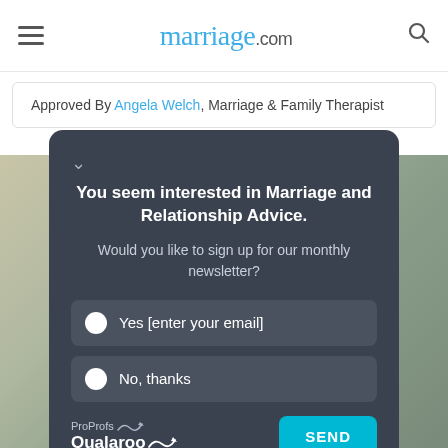marriage.com
Approved By Angela Welch, Marriage & Family Therapist
[Figure (screenshot): Dark survey popup overlay on marriage.com website with newsletter signup options]
You seem interested in Marriage and Relationship Advice.
Would you like to sign up for our monthly newsletter?
Yes [enter your email]
No, thanks
ProProfs Qualaroo
SEND